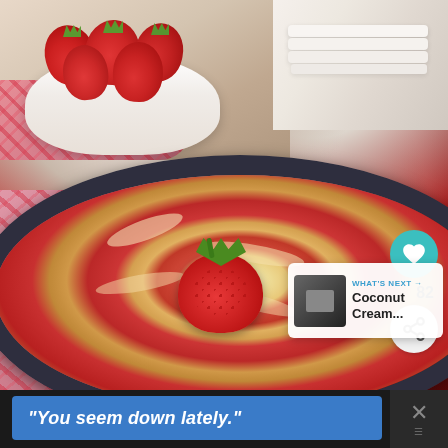[Figure (photo): A strawberry cake/tart in a dark fluted tart pan, with fresh sliced strawberries baked in a cream batter, topped with a whole fresh strawberry with green leaves. In the background is a white bowl filled with fresh strawberries and stacked white plates, set on a floral pink cloth. A teal heart/like button shows 82 likes and a share button are visible on the right side. A 'What's Next' thumbnail preview shows 'Coconut Cream...' text.]
“You seem down lately.”